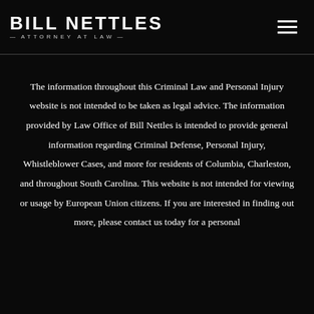BILL NETTLES — ATTORNEY AT LAW —
The information throughout this Criminal Law and Personal Injury website is not intended to be taken as legal advice. The information provided by Law Office of Bill Nettles is intended to provide general information regarding Criminal Defense, Personal Injury, Whistleblower Cases, and more for residents of Columbia, Charleston, and throughout South Carolina. This website is not intended for viewing or usage by European Union citizens. If you are interested in finding out more, please contact us today for a personal